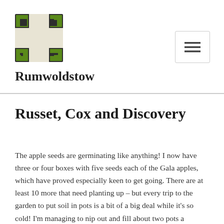[Figure (logo): Rumwoldstow logo: a square grid icon with green and dark brown colors arranged in a cross/puzzle pattern]
Rumwoldstow
Russet, Cox and Discovery
The apple seeds are germinating like anything! I now have three or four boxes with five seeds each of the Gala apples, which have proved especially keen to get going. There are at least 10 more that need planting up – but every trip to the garden to put soil in pots is a bit of a big deal while it's so cold! I'm managing to nip out and fill about two pots a